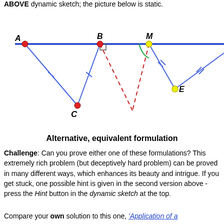ABOVE dynamic sketch; the picture below is static.
[Figure (illustration): Geometric diagram showing points A (red dot, left on horizontal blue line), B (red dot, middle on horizontal blue line with right-angle mark), M (yellow dot, on horizontal blue line, with green arc angle mark), E (yellow dot, below and right of M), and C (red dot, bottom center). Blue solid lines connect A-B-C triangle and two lines from M to E and continuing right. Red dashed lines connect B-M and M-C area. Tick marks on segments indicate equal lengths.]
Alternative, equivalent formulation
Challenge: Can you prove either one of these formulations? This extremely rich problem (but deceptively hard problem) can be proved in many different ways, which enhances its beauty and intrigue. If you get stuck, one possible hint is given in the second version above - press the Hint button in the dynamic sketch at the top.
Compare your own solution to this one, 'Application of a